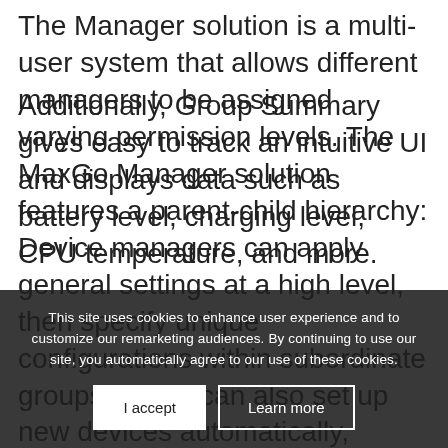The Manager solution is a multi-user system that allows different managers to be assigned varying permission levels. The MaxGo Manager solution features a parent-child hierarchy: Device managers can apply general settings at a high level, then specify unique configurations within subordinate groups. Users can also set up new devices automatically, simply by adding them to a desired group.
Additionally, Group Summary gives easy to track an intuitive UI and displays data such as battery level, charging level, CPU temperature, and more.
This site uses cookies to enhance user experience and to customize our remarketing audiences. By continuing to use our site, you automatically agree to our use of these cookies.